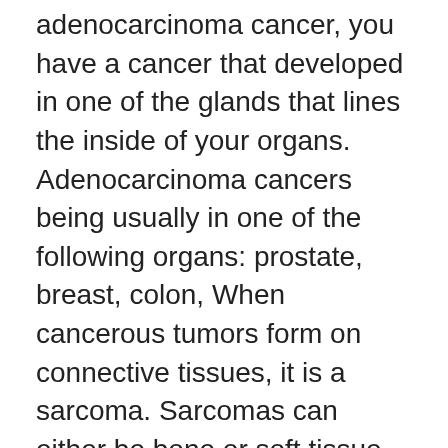adenocarcinoma cancer, you have a cancer that developed in one of the glands that lines the inside of your organs. Adenocarcinoma cancers being usually in one of the following organs: prostate, breast, colon, When cancerous tumors form on connective tissues, it is a sarcoma. Sarcomas can either be bone or soft tissue, with additional sub-classifications depending on the origin of the cells (according to The Sarcoma Alliance). Sarcoma is rare and If breast cancer is diagnosed at an early enough stage, it's treatable. There are a number of different treatments doctors recommend. Of course, your specialist is the main person whose advice you should follow but it doesn't do anyone harm A cancer diagnosis can leave you unable to comprehend anything else your doctor says, but it's important to pay attention to what type of